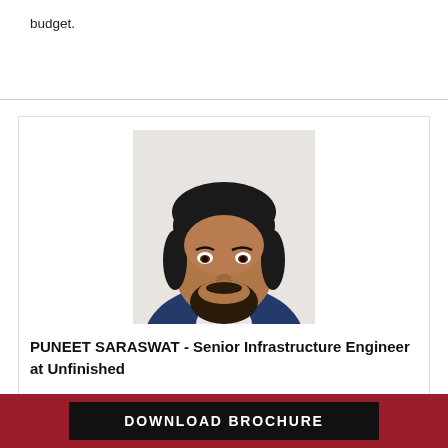budget.
[Figure (photo): Portrait photo of Puneet Saraswat, a man with dark hair and beard wearing a navy blue blazer]
PUNEET SARASWAT - Senior Infrastructure Engineer at Unfinished
Puneet has over nine years of experience, ranging from
DOWNLOAD BROCHURE